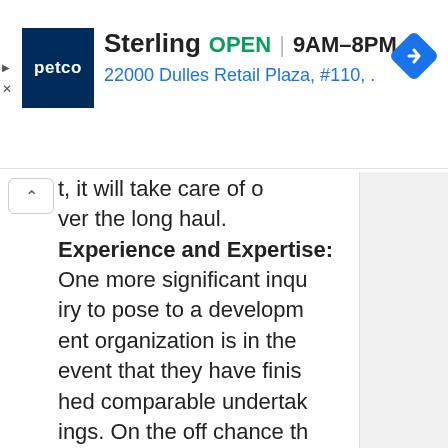[Figure (screenshot): Petco store ad banner showing Sterling location: OPEN 9AM-8PM, 22000 Dulles Retail Plaza, #110, with navigation arrow icon and petco logo]
t, it will take care of over the long haul. Experience and Expertise: One more significant inquiry to pose to a development organization is in the event that they have finished comparable undertakings. On the off chance that they have, request to see photographs, and request references. Assuming they have, pick an organization that has insight and mastery in your field and market. In the event th